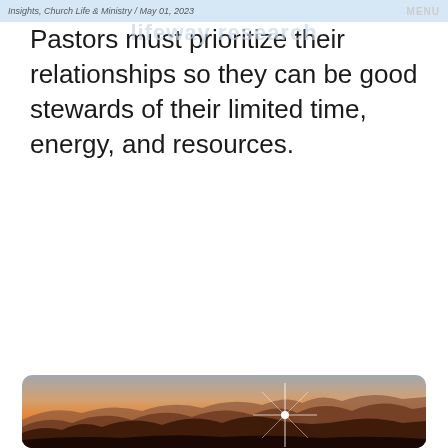Insights, Church Life & Ministry / May 01, 2023
Pastors must prioritize their relationships so they can be good stewards of their limited time, energy, and resources.
READ MORE
[Figure (photo): Sunset or sunrise over mountain ranges with a bright star-burst sun on the horizon, warm orange and golden tones in the sky, dark silhouettes of mountains and trees in the foreground]